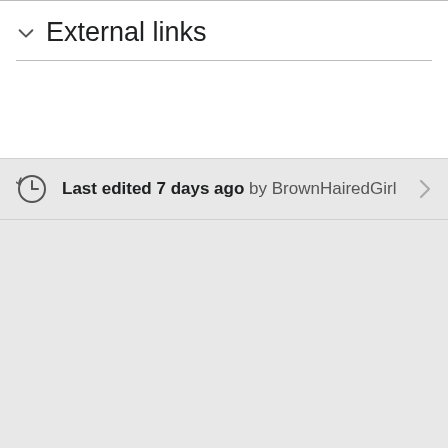External links
Last edited 7 days ago by BrownHairedGirl